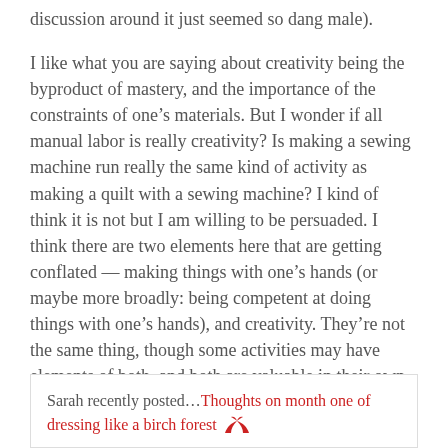discussion around it just seemed so dang male).
I like what you are saying about creativity being the byproduct of mastery, and the importance of the constraints of one's materials. But I wonder if all manual labor is really creativity? Is making a sewing machine run really the same kind of activity as making a quilt with a sewing machine? I kind of think it is not but I am willing to be persuaded. I think there are two elements here that are getting conflated — making things with one's hands (or maybe more broadly: being competent at doing things with one's hands), and creativity. They're not the same thing, though some activities may have elements of both, and both are valuable in their own right.
Sarah recently posted…Thoughts on month one of dressing like a birch forest 🦅